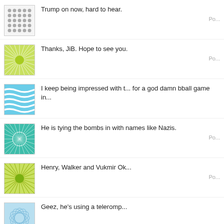[Figure (screenshot): Social media comment feed with avatar icons and truncated comment text]
Trump on now, hard to hear.
Thanks, JiB. Hope to see you.
I keep being impressed with t... for a god damn bball game in...
He is tying the bombs in with names like Nazis.
Henry, Walker and Vukmir Ok...
Geez, he's using a teleromp...